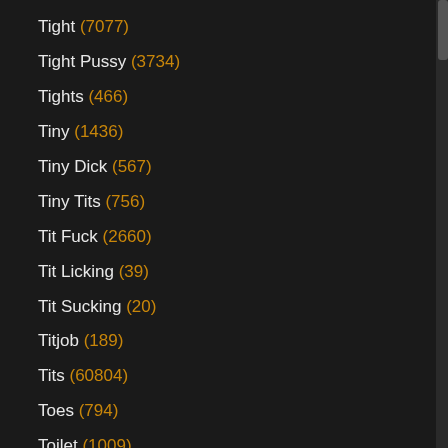Tight (7077)
Tight Pussy (3734)
Tights (466)
Tiny (1436)
Tiny Dick (567)
Tiny Tits (756)
Tit Fuck (2660)
Tit Licking (39)
Tit Sucking (20)
Titjob (189)
Tits (60804)
Toes (794)
Toilet (1009)
Toon (1447)
Topless (446)